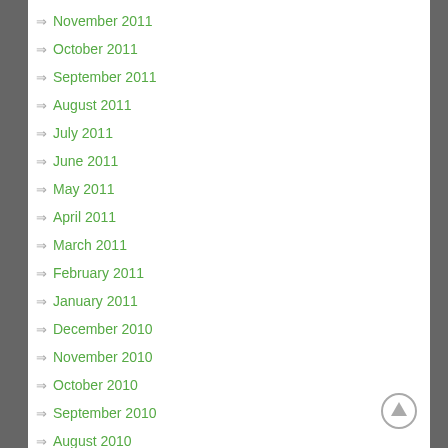November 2011
October 2011
September 2011
August 2011
July 2011
June 2011
May 2011
April 2011
March 2011
February 2011
January 2011
December 2010
November 2010
October 2010
September 2010
August 2010
July 2010
[Figure (illustration): Back to top circular arrow button]